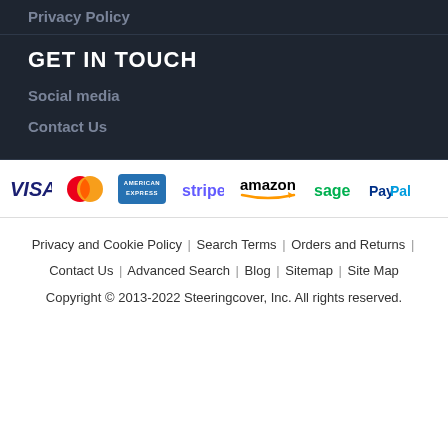Privacy Policy
GET IN TOUCH
Social media
Contact Us
[Figure (logo): Payment method logos: VISA, MasterCard, American Express, Stripe, Amazon, Sage, PayPal]
Privacy and Cookie Policy | Search Terms | Orders and Returns | Contact Us | Advanced Search | Blog | Sitemap | Site Map
Copyright © 2013-2022 Steeringcover, Inc. All rights reserved.